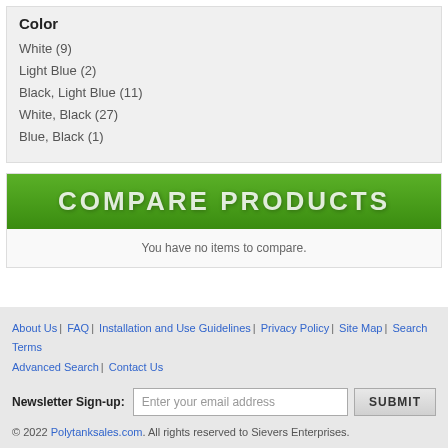Color
White (9)
Light Blue (2)
Black, Light Blue (11)
White, Black (27)
Blue, Black (1)
[Figure (other): Compare Products banner with green gradient background and white text]
You have no items to compare.
About Us | FAQ | Installation and Use Guidelines | Privacy Policy | Site Map | Search Terms | Advanced Search | Contact Us
Newsletter Sign-up: [Enter your email address] SUBMIT
© 2022 Polytanksales.com. All rights reserved to Sievers Enterprises.